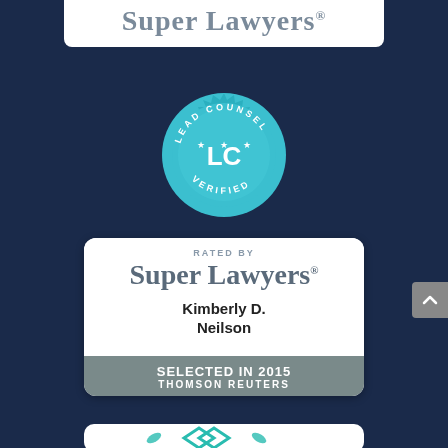[Figure (logo): Super Lawyers logo text in gray on white background, partially cropped at top]
[Figure (logo): Lead Counsel LC Verified badge — circular teal/cyan badge with 'LEAD COUNSEL' at top, star-LC-star in center, 'VERIFIED' at bottom, serrated edge]
[Figure (infographic): Rated by Super Lawyers badge card for Kimberly D. Neilson, Selected in 2015, Thomson Reuters]
[Figure (logo): Partially visible card at bottom with teal diamond/lattice logo and laurel leaf icons]